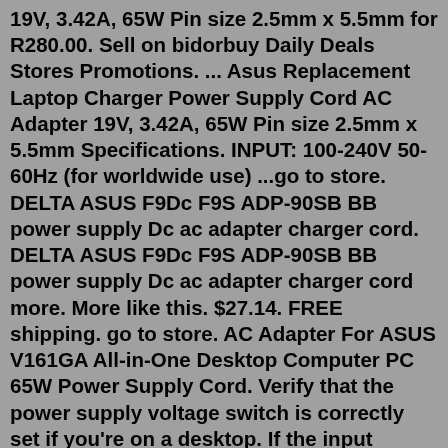19V, 3.42A, 65W Pin size 2.5mm x 5.5mm for R280.00. Sell on bidorbuy Daily Deals Stores Promotions. ... Asus Replacement Laptop Charger Power Supply Cord AC Adapter 19V, 3.42A, 65W Pin size 2.5mm x 5.5mm Specifications. INPUT: 100-240V 50-60Hz (for worldwide use) ...go to store. DELTA ASUS F9Dc F9S ADP-90SB BB power supply Dc ac adapter charger cord. DELTA ASUS F9Dc F9S ADP-90SB BB power supply Dc ac adapter charger cord more. More like this. $27.14. FREE shipping. go to store. AC Adapter For ASUS V161GA All-in-One Desktop Computer PC 65W Power Supply Cord. Verify that the power supply voltage switch is correctly set if you're on a desktop. If the input voltage for the power supply unit (PSU) does not match the correct setting for your country, your computer may not power on at all. Remove the main battery in the laptop or tablet and try using AC power only.Ac Adapter Charger Power Cord for Asus 33W 19V 1.75A Eeebook X205T X205TA Laptop. Brand